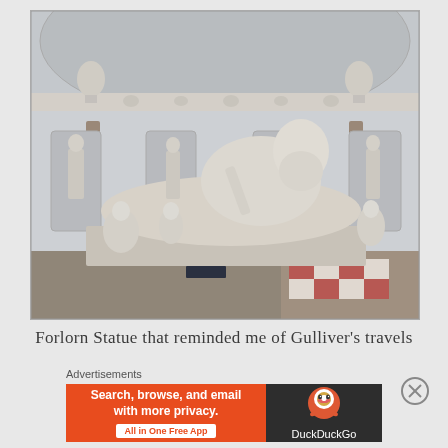[Figure (photo): Museum interior with a large reclining marble statue of a bearded figure (resembling a river god or Zeus) surrounded by smaller figures and putti, set in a circular hall with niches containing smaller statues, columns, and decorative friezes. The floor has a checkered marble pattern in red and white.]
Forlorn Statue that reminded me of Gulliver's travels
Advertisements
[Figure (screenshot): DuckDuckGo advertisement banner. Left orange section reads 'Search, browse, and email with more privacy. All in One Free App'. Right dark section shows the DuckDuckGo duck logo and 'DuckDuckGo' text.]